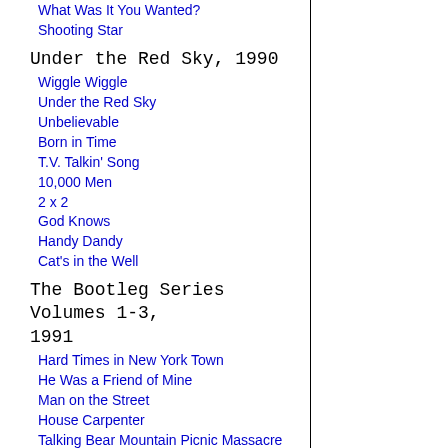What Was It You Wanted?
Shooting Star
Under the Red Sky, 1990
Wiggle Wiggle
Under the Red Sky
Unbelievable
Born in Time
T.V. Talkin' Song
10,000 Men
2 x 2
God Knows
Handy Dandy
Cat's in the Well
The Bootleg Series Volumes 1-3, 1991
Hard Times in New York Town
He Was a Friend of Mine
Man on the Street
House Carpenter
Talking Bear Mountain Picnic Massacre Blues
Let Me Die in My Footsteps
Rambling, Gambling Willie
Talkin Hava Nageilah Blues